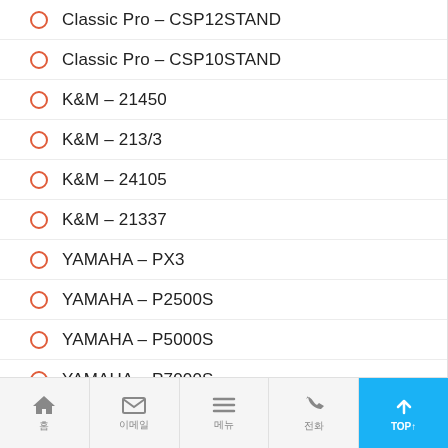Classic Pro – CSP12STAND
Classic Pro – CSP10STAND
K&M – 21450
K&M – 213/3
K&M – 24105
K&M – 21337
YAMAHA – PX3
YAMAHA – P2500S
YAMAHA – P5000S
YAMAHA – P7000S
QSC – PLD4.5
NEXO – NXAMP4×1
NEXO – NXAMP4×4
홈 | 이메일 | 메뉴 | 전화 | TOP↑